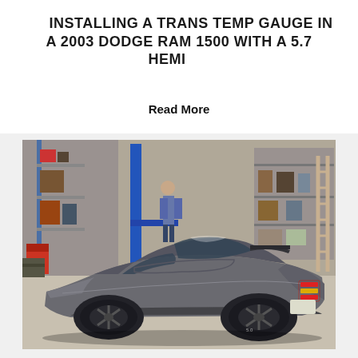INSTALLING A TRANS TEMP GAUGE IN A 2003 DODGE RAM 1500 WITH A 5.7 HEMI
Read More
[Figure (photo): A grey Ford Mustang GT sports car parked inside an automotive workshop/garage. The car is viewed from the rear-left angle, showing its red and yellow tri-bar tail lights, dark alloy wheels, and GT badging. The garage background shows shelving, a blue lift post, tools, car parts, and a worker in the background.]